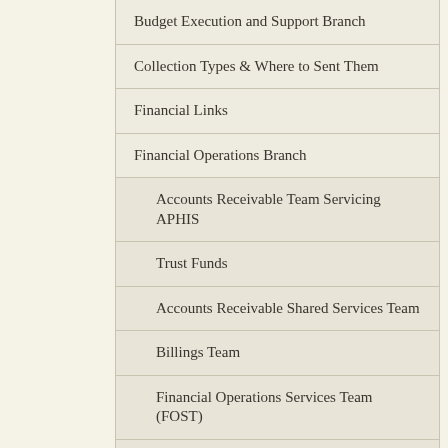Budget Execution and Support Branch
Collection Types & Where to Sent Them
Financial Links
Financial Operations Branch
Accounts Receivable Team Servicing APHIS
Trust Funds
Accounts Receivable Shared Services Team
Billings Team
Financial Operations Services Team (FOST)
International Operations & Accounting Team (IOAT)
Financial Services Branch